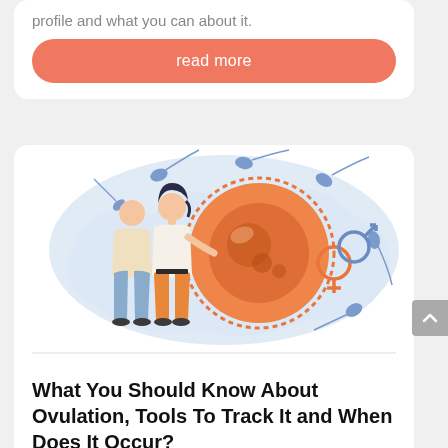profile and what you can about it.
read more
[Figure (illustration): Medical illustration showing a couple (man in beige and woman in orange outfit) standing next to a large orange egg/ovum cell surrounded by sperm cells and male/female gender symbols, on a light blue organic background.]
What You Should Know About Ovulation, Tools To Track It and When Does It Occur?